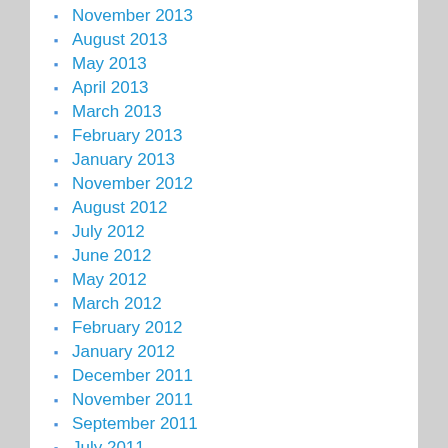November 2013
August 2013
May 2013
April 2013
March 2013
February 2013
January 2013
November 2012
August 2012
July 2012
June 2012
May 2012
March 2012
February 2012
January 2012
December 2011
November 2011
September 2011
July 2011
April 2011
March 2011